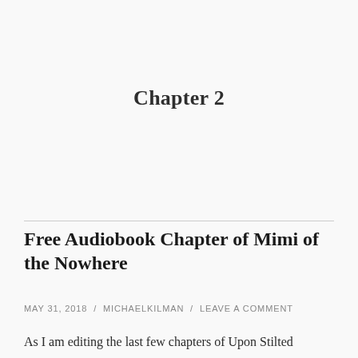Chapter 2
Free Audiobook Chapter of Mimi of the Nowhere
MAY 31, 2018  /  MICHAELKILMAN  /  LEAVE A COMMENT
As I am editing the last few chapters of Upon Stilted